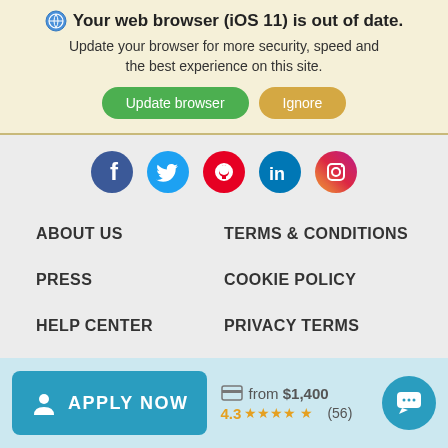Your web browser (iOS 11) is out of date. Update your browser for more security, speed and the best experience on this site.
Update browser | Ignore
[Figure (illustration): Social media icons row: Facebook, Twitter, Pinterest, LinkedIn, Instagram]
ABOUT US
TERMS & CONDITIONS
PRESS
COOKIE POLICY
HELP CENTER
PRIVACY TERMS
APPLY NOW  from $1,400  4.3 ★★★★★ (56)